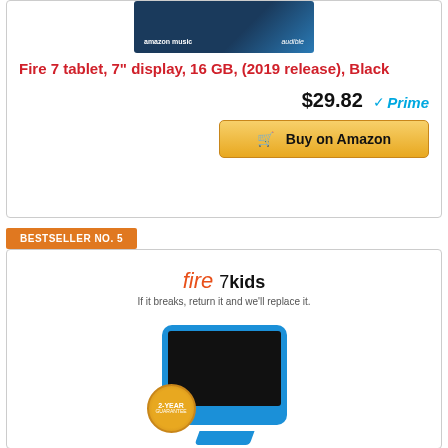[Figure (photo): Amazon tablet product image showing Amazon Music and Audible logos on dark background]
Fire 7 tablet, 7" display, 16 GB, (2019 release), Black
$29.82 Prime
Buy on Amazon
BESTSELLER NO. 5
[Figure (photo): Fire 7 Kids tablet product image showing blue kids case with 2-Year Guarantee badge]
Fire 7 Kids tablet, 7" Display, ages 3-7, 16...